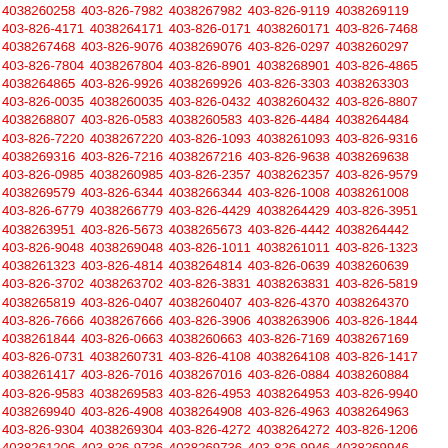4038260258 403-826-7982 4038267982 403-826-9119 4038269119 403-826-4171 4038264171 403-826-0171 4038260171 403-826-7468 4038267468 403-826-9076 4038269076 403-826-0297 4038260297 403-826-7804 4038267804 403-826-8901 4038268901 403-826-4865 4038264865 403-826-9926 4038269926 403-826-3303 4038263303 403-826-0035 4038260035 403-826-0432 4038260432 403-826-8807 4038268807 403-826-0583 4038260583 403-826-4484 4038264484 403-826-7220 4038267220 403-826-1093 4038261093 403-826-9316 4038269316 403-826-7216 4038267216 403-826-9638 4038269638 403-826-0985 4038260985 403-826-2357 4038262357 403-826-9579 4038269579 403-826-6344 4038266344 403-826-1008 4038261008 403-826-6779 4038266779 403-826-4429 4038264429 403-826-3951 4038263951 403-826-5673 4038265673 403-826-4442 4038264442 403-826-9048 4038269048 403-826-1011 4038261011 403-826-1323 4038261323 403-826-4814 4038264814 403-826-0639 4038260639 403-826-3702 4038263702 403-826-3831 4038263831 403-826-5819 4038265819 403-826-0407 4038260407 403-826-4370 4038264370 403-826-7666 4038267666 403-826-3906 4038263906 403-826-1844 4038261844 403-826-0663 4038260663 403-826-7169 4038267169 403-826-0731 4038260731 403-826-4108 4038264108 403-826-1417 4038261417 403-826-7016 4038267016 403-826-0884 4038260884 403-826-9583 4038269583 403-826-4953 4038264953 403-826-9940 4038269940 403-826-4908 4038264908 403-826-4963 4038264963 403-826-9304 4038269304 403-826-4272 4038264272 403-826-1206 4038261206 403-826-9736 4038269736 403-826-9946 4038269946